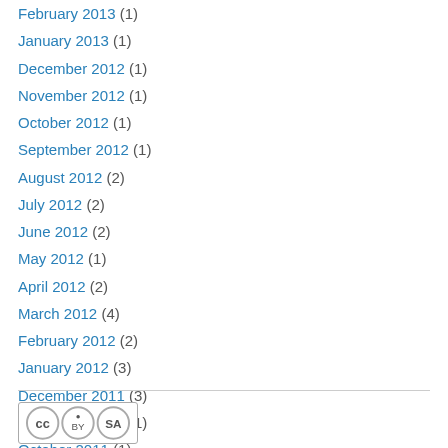February 2013 (1)
January 2013 (1)
December 2012 (1)
November 2012 (1)
October 2012 (1)
September 2012 (1)
August 2012 (2)
July 2012 (2)
June 2012 (2)
May 2012 (1)
April 2012 (2)
March 2012 (4)
February 2012 (2)
January 2012 (3)
December 2011 (3)
November 2011 (1)
October 2011 (1)
[Figure (logo): Creative Commons license badge showing CC, BY, and SA icons]